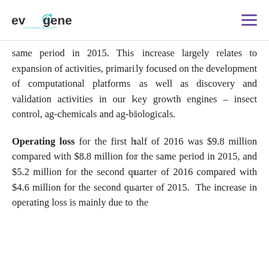evogene DECODING BIOLOGY
same period in 2015. This increase largely relates to expansion of activities, primarily focused on the development of computational platforms as well as discovery and validation activities in our key growth engines – insect control, ag-chemicals and ag-biologicals.
Operating loss for the first half of 2016 was $9.8 million compared with $8.8 million for the same period in 2015, and $5.2 million for the second quarter of 2016 compared with $4.6 million for the second quarter of 2015. The increase in operating loss is mainly due to the